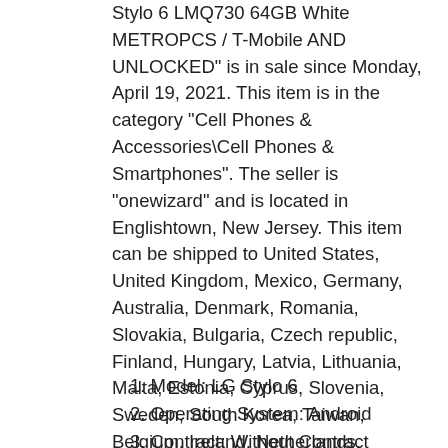Stylo 6 LMQ730 64GB White METROPCS / T-Mobile AND UNLOCKED" is in sale since Monday, April 19, 2021. This item is in the category "Cell Phones & Accessories\Cell Phones & Smartphones". The seller is "onewizard" and is located in Englishtown, New Jersey. This item can be shipped to United States, United Kingdom, Mexico, Germany, Australia, Denmark, Romania, Slovakia, Bulgaria, Czech republic, Finland, Hungary, Latvia, Lithuania, Malta, Estonia, Cyprus, Slovenia, Sweden, South Korea, Taiwan, Belgium, Ireland, Netherlands, Poland, Austria, Bahamas, Israel, New Zealand, Singapore, Switzerland, Norway, United arab emirates, Kuwait, Bahrain, Croatia, Antigua and barbuda, Belize, Dominica, Grenada, Saint kitts and nevis, Saint lucia, Barbados, Bermuda, Brunei darussalam, Bolivia, Guernsey, Gibraltar, Guadeloupe, Iceland, Jersey, Cambodia, Liechtenstein, Sri lanka, Luxembourg, Monaco, Macao, Martinique, Oman, Paraguay, Reunion, Uruguay.
1. Model: LG Stylo 6
2. Operating System: Android
3. Contract: Without Contract